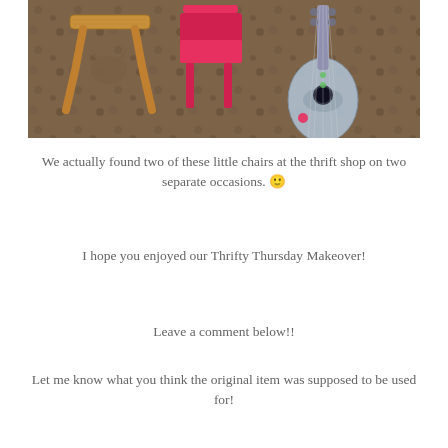[Figure (photo): Photo showing wooden stool with cat-shaped cutout, pink chair, and toy guitar on a sandy/rocky surface]
We actually found two of these little chairs at the thrift shop on two separate occasions. 🙂
I hope you enjoyed our Thrifty Thursday Makeover!
Leave a comment below!!
Let me know what you think the original item was supposed to be used for!